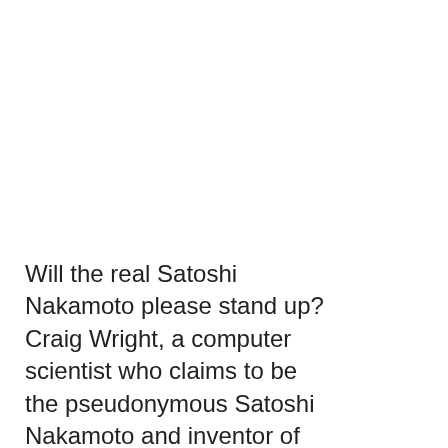Will the real Satoshi Nakamoto please stand up? Craig Wright, a computer scientist who claims to be the pseudonymous Satoshi Nakamoto and inventor of Bitcoin, was found by a jury to be the rightful owner of a digital wallet